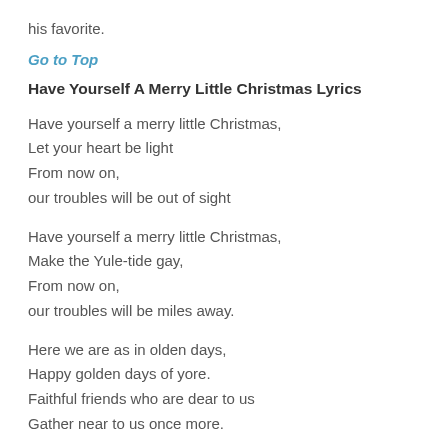his favorite.
Go to Top
Have Yourself A Merry Little Christmas Lyrics
Have yourself a merry little Christmas,
Let your heart be light
From now on,
our troubles will be out of sight
Have yourself a merry little Christmas,
Make the Yule-tide gay,
From now on,
our troubles will be miles away.
Here we are as in olden days,
Happy golden days of yore.
Faithful friends who are dear to us
Gather near to us once more.
Through the years,